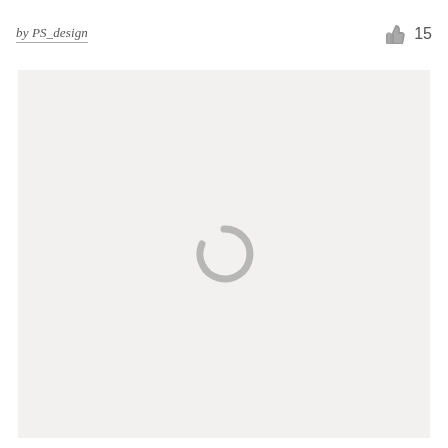by PS_design   👍 15
[Figure (illustration): A large light gray rectangular content area with a gray circular loading spinner icon centered within it, indicating content is loading.]